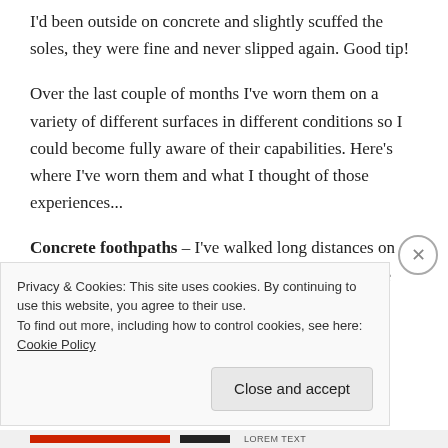I'd been outside on concrete and slightly scuffed the soles, they were fine and never slipped again. Good tip!
Over the last couple of months I've worn them on a variety of different surfaces in different conditions so I could become fully aware of their capabilities. Here's where I've worn them and what I thought of those experiences...
Concrete foothpaths – I've walked long distances on concrete and found them really comfortable. If a lace
Privacy & Cookies: This site uses cookies. By continuing to use this website, you agree to their use.
To find out more, including how to control cookies, see here: Cookie Policy
Close and accept